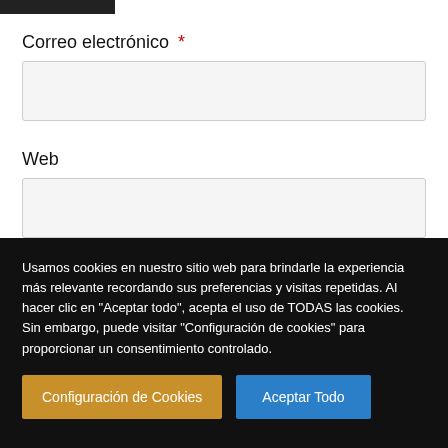Correo electrónico *
Web
Usamos cookies en nuestro sitio web para brindarle la experiencia más relevante recordando sus preferencias y visitas repetidas. Al hacer clic en "Aceptar todo", acepta el uso de TODAS las cookies. Sin embargo, puede visitar "Configuración de cookies" para proporcionar un consentimiento controlado.
Configuración de Cookies
Aceptar Todo